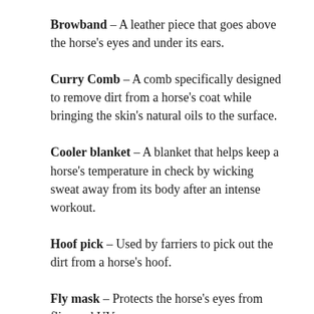Browband – A leather piece that goes above the horse's eyes and under its ears.
Curry Comb – A comb specifically designed to remove dirt from a horse's coat while bringing the skin's natural oils to the surface.
Cooler blanket – A blanket that helps keep a horse's temperature in check by wicking sweat away from its body after an intense workout.
Hoof pick – Used by farriers to pick out the dirt from a horse's hoof.
Fly mask – Protects the horse's eyes from flies and UV